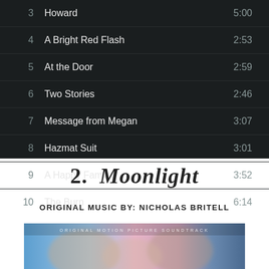| # | Title | Duration |
| --- | --- | --- |
| 3 | Howard | 5:00 |
| 4 | A Bright Red Flash | 2:53 |
| 5 | At the Door | 2:59 |
| 6 | Two Stories | 2:46 |
| 7 | Message from Megan | 3:07 |
| 8 | Hazmat Suit | 3:01 |
| 9 | A Happy Family | 3:52 |
| 10 | The Burn | 6:14 |
2.  Moonlight
ORIGINAL MUSIC BY: NICHOLAS BRITELL
[Figure (photo): Album cover for Moonlight Original Motion Picture Soundtrack, showing blurred faces with text 'ORIGINAL MOTION PICTURE SOUNDTRACK' overlaid]